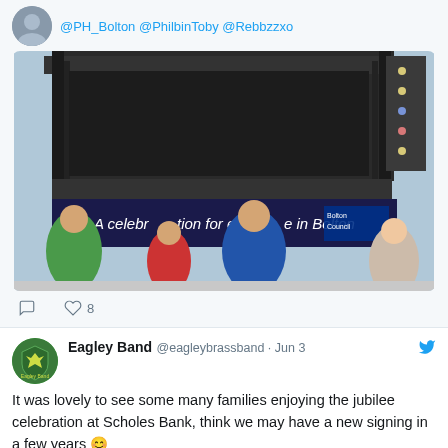@PH_Bolton @PhilbinToby @Rebbzzxo
[Figure (photo): Outdoor music stage with banner reading 'A celebration for everyone in Bolton' with Bolton Council logo, people seated watching performance]
8 likes
Eagley Band @eagleybrassband · Jun 3
It was lovely to see some many families enjoying the jubilee celebration at Scholes Bank, think we may have a new signing in a few years 😊
[Figure (photo): Two side-by-side photos of a young child at an outdoor event]